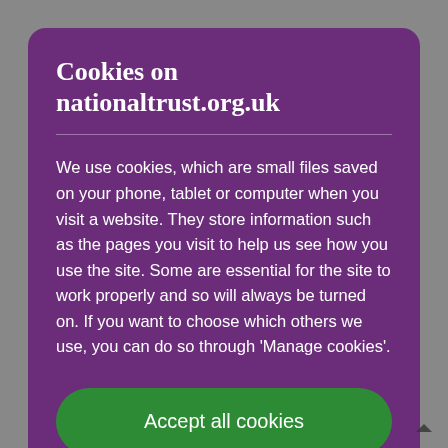Cookies on nationaltrust.org.uk
We use cookies, which are small files saved on your phone, tablet or computer when you visit a website. They store information such as the pages you visit to help us see how you use the site. Some are essential for the site to work properly and so will always be turned on. If you want to choose which others we use, you can do so through 'Manage cookies'.
[Figure (screenshot): Green 'Accept all cookies' button]
[Figure (screenshot): Partially visible 'Manage cookies' button at bottom]